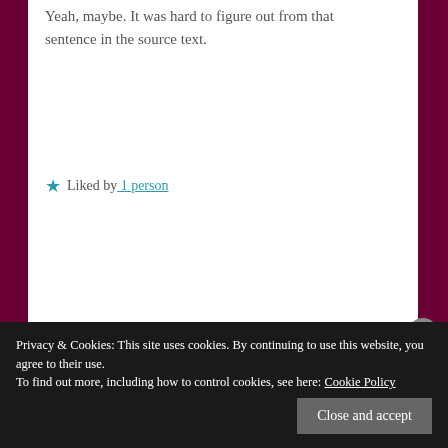Yeah, maybe. It was hard to figure out from that sentence in the source text.
Liked by 1 person
Reply
Pingback: SFLQT CH 37 – Hong Bai He Translations
Leave a Reply
Your email address will not be published. Required fields are marked *
Privacy & Cookies: This site uses cookies. By continuing to use this website, you agree to their use. To find out more, including how to control cookies, see here: Cookie Policy
Close and accept